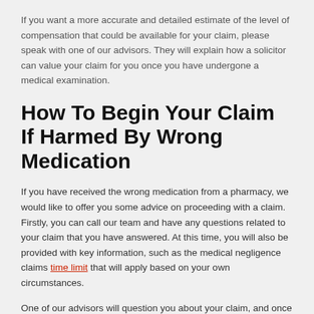If you want a more accurate and detailed estimate of the level of compensation that could be available for your claim, please speak with one of our advisors. They will explain how a solicitor can value your claim for you once you have undergone a medical examination.
How To Begin Your Claim If Harmed By Wrong Medication
If you have received the wrong medication from a pharmacy, we would like to offer you some advice on proceeding with a claim. Firstly, you can call our team and have any questions related to your claim that you have answered. At this time, you will also be provided with key information, such as the medical negligence claims time limit that will apply based on your own circumstances.
One of our advisors will question you about your claim, and once